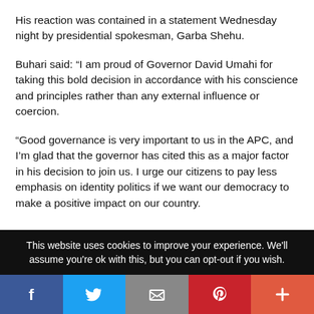His reaction was contained in a statement Wednesday night by presidential spokesman, Garba Shehu.
Buhari said: “I am proud of Governor David Umahi for taking this bold decision in accordance with his conscience and principles rather than any external influence or coercion.
“Good governance is very important to us in the APC, and I’m glad that the governor has cited this as a major factor in his decision to join us. I urge our citizens to pay less emphasis on identity politics if we want our democracy to make a positive impact on our country.
This website uses cookies to improve your experience. We'll assume you're ok with this, but you can opt-out if you wish.